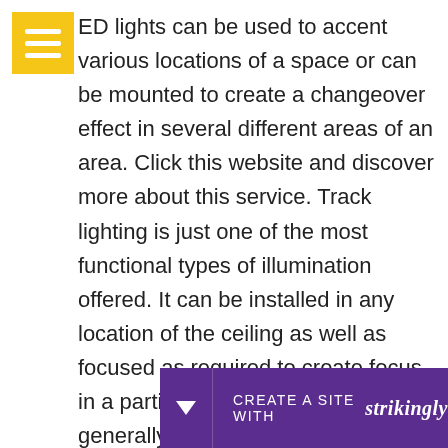[Figure (other): Yellow hamburger menu button with three white horizontal lines]
ED lights can be used to accent various locations of a space or can be mounted to create a changeover effect in several different areas of an area. Click this website and discover more about this service. Track lighting is just one of the most functional types of illumination offered. It can be installed in any location of the ceiling as well as focused as required to create focus in a particular area. They are generally utilized to highlight art work or plants in a space. Track lights are likewise a popular choice for outdoor lighting, developing paths as well as light display screens around a hous
[Figure (other): Purple banner bar at bottom with down arrow and text: CREATE A SITE WITH strikingly]